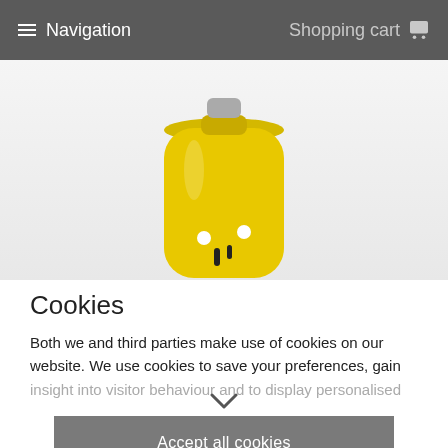≡ Navigation    Shopping cart 🛒
[Figure (photo): Yellow bottle product photo, cropped, bottom of bottle visible against light grey background]
Cookies
Both we and third parties make use of cookies on our website. We use cookies to save your preferences, gain insight into visitor behaviour and to display personalised
Accept all cookies
Cookie settings